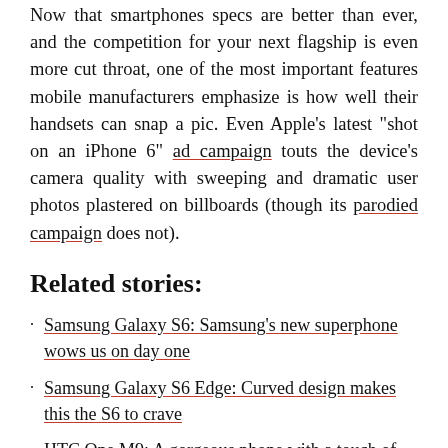Now that smartphones specs are better than ever, and the competition for your next flagship is even more cut throat, one of the most important features mobile manufacturers emphasize is how well their handsets can snap a pic. Even Apple's latest "shot on an iPhone 6" ad campaign touts the device's camera quality with sweeping and dramatic user photos plastered on billboards (though its parodied campaign does not).
Related stories:
Samsung Galaxy S6: Samsung's new superphone wows us on day one
Samsung Galaxy S6 Edge: Curved design makes this the S6 to crave
HTC One M9: A gorgeous phone with a touch of déjà vu
Apple iPhone 6: iPhone 6 sets the smartphone bar
To compare how well the cameras of the latest and most popular flagships perform, I took the Samsung